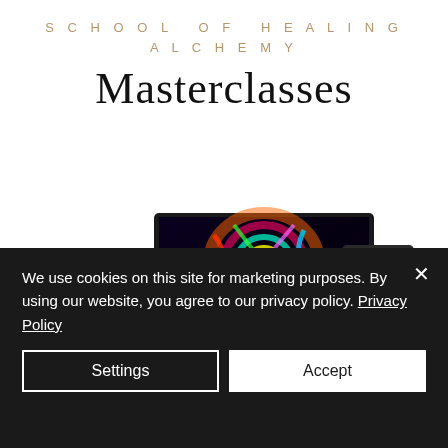SCHOOL OF HEALING ALCHEMY
Masterclasses
[Figure (screenshot): Promotional image showing multiple devices (monitor, laptop, tablet, phone) displaying 'Fearless Healers' and other course content on a desk surface]
We use cookies on this site for marketing purposes. By using our website, you agree to our privacy policy. Privacy Policy
Settings
Accept